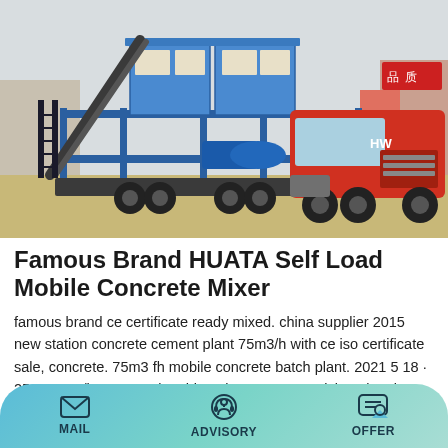[Figure (photo): A blue mobile concrete batching plant mounted on a trailer, being towed by a red FAW truck, parked at a construction site with buildings in the background.]
Famous Brand HUATA Self Load Mobile Concrete Mixer
famous brand ce certificate ready mixed. china supplier 2015 new station concrete cement plant 75m3/h with ce iso certificate sale, concrete. 75m3 fh mobile concrete batch plant. 2021 5 18 · 25 180 m3/h concrete batching plant,concrete mixing plant in china. plant. 75m3/h concrete
MAIL  ADVISORY  OFFER